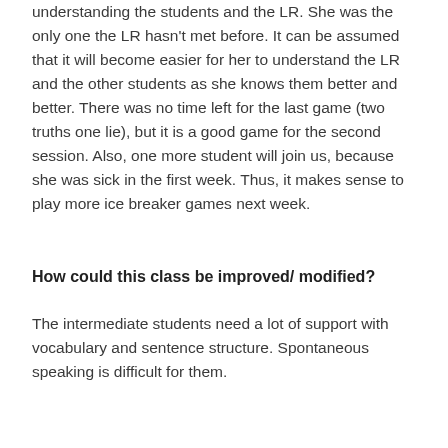understanding the students and the LR. She was the only one the LR hasn't met before. It can be assumed that it will become easier for her to understand the LR and the other students as she knows them better and better. There was no time left for the last game (two truths one lie), but it is a good game for the second session. Also, one more student will join us, because she was sick in the first week. Thus, it makes sense to play more ice breaker games next week.
How could this class be improved/ modified?
The intermediate students need a lot of support with vocabulary and sentence structure. Spontaneous speaking is difficult for them.